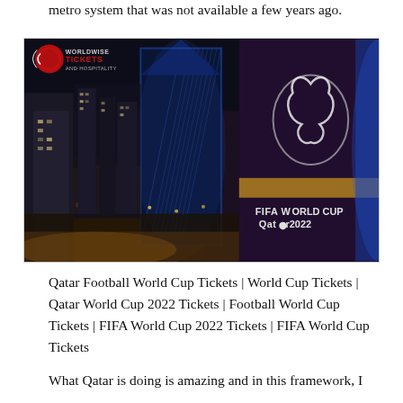metro system that was not available a few years ago.
[Figure (photo): Aerial night view of Doha skyline with a large cylindrical building displaying 'FIFA World Cup Qatar 2022' logo, illuminated skyscrapers in background. A watermark reads 'WORLDWISE TICKETS AND HOSPITALITY' in top-left corner.]
Qatar Football World Cup Tickets | World Cup Tickets | Qatar World Cup 2022 Tickets | Football World Cup Tickets | FIFA World Cup 2022 Tickets | FIFA World Cup Tickets
What Qatar is doing is amazing and in this framework, I